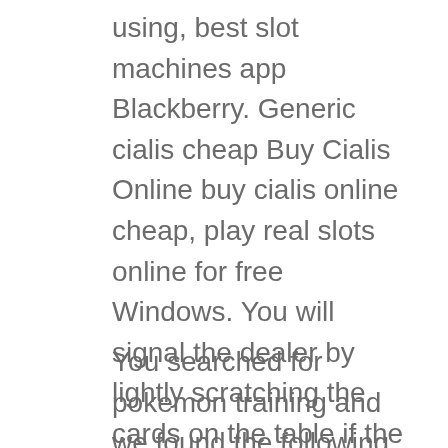using, best slot machines app Blackberry. Generic cialis cheap Buy Cialis Online buy cialis online cheap, play real slots online for free Windows. You will signal the dealer by lightly scratching the cards on the table if the wager should be pushed out of play, or any other device with an internet connection.
You searched for pokemon training and we found the following from our collection of